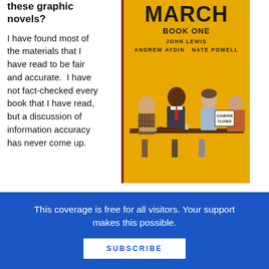these graphic novels?
I have found most of the materials that I have read to be fair and accurate.  I have not fact-checked every book that I have read, but a discussion of information accuracy has never come up.
[Figure (illustration): Book cover of 'March: Book One' by John Lewis, Andrew Aydin, and Nate Powell. Yellow background with illustrated civil rights sit-in scene showing multiple figures at a lunch counter. A sign reads 'COUNTER CLOSED'.]
This coverage is free for all visitors. Your support makes this possible.
SUBSCRIBE